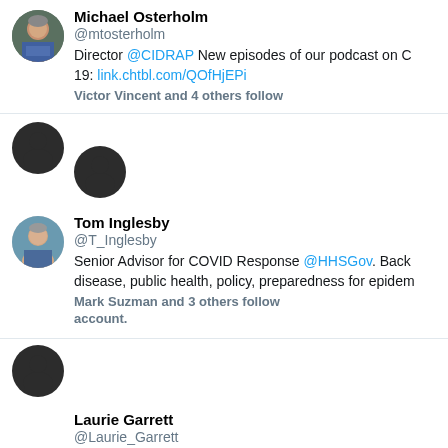[Figure (screenshot): Twitter/social media profile list showing suggested follows including Michael Osterholm, Tom Inglesby, Laurie Garrett, and Larry Brilliant MD MPH]
Michael Osterholm @mtosterholm Director @CIDRAP New episodes of our podcast on COVID-19: link.chtbl.com/QOfHjEPi Victor Vincent and 4 others follow
Tom Inglesby @T_Inglesby Senior Advisor for COVID Response @HHSGov. Back disease, public health, policy, preparedness for epidem Mark Suzman and 3 others follow account.
Laurie Garrett @Laurie_Garrett Former Sr Fellow @CFR_org. Recipient of Pulitzer Pri Peabody Awards. Author: IHeard theSirensScream, Th Ebola & BetrayalofTrust.
Show more
Larry Brilliant MD, MPH @larrybrilliant · Jul 26